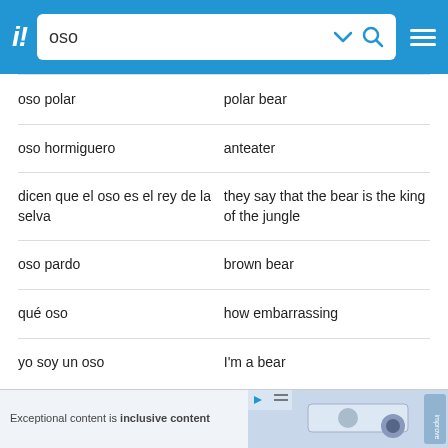SpanishDict - search: oso
oso polar | polar bear
oso hormiguero | anteater
dicen que el oso es el rey de la selva | they say that the bear is the king of the jungle
oso pardo | brown bear
qué oso | how embarrassing
yo soy un oso | I'm a bear
📱 Take SpanishDict with you
[Figure (screenshot): Advertisement banner at the bottom of the page with text 'Exceptional content is inclusive content' and decorative imagery]